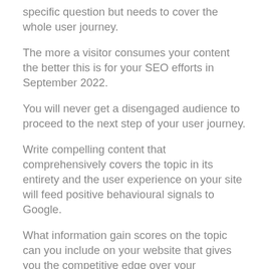specific question but needs to cover the whole user journey.
The more a visitor consumes your content the better this is for your SEO efforts in September 2022.
You will never get a disengaged audience to proceed to the next step of your user journey.
Write compelling content that comprehensively covers the topic in its entirety and the user experience on your site will feed positive behavioural signals to Google.
What information gain scores on the topic can you include on your website that gives you the competitive edge over your competition?